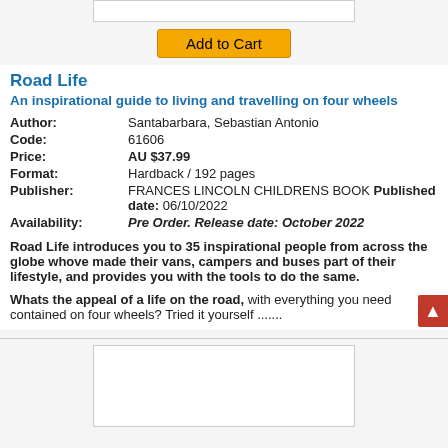[Figure (other): Top partial book cover image (clipped)]
Add to Cart
Road Life
An inspirational guide to living and travelling on four wheels
Author: Santabarbara, Sebastian Antonio
Code: 61606
Price: AU $37.99
Format: Hardback / 192 pages
Publisher: FRANCES LINCOLN CHILDRENS BOOK Published date: 06/10/2022
Availability: Pre Order. Release date: October 2022
Road Life introduces you to 35 inspirational people from across the globe whove made their vans, campers and buses part of their lifestyle, and provides you with the tools to do the same.
Whats the appeal of a life on the road, with everything you need contained on four wheels? Tried it yourself .......
[Figure (other): Bottom partial book cover image (clipped)]